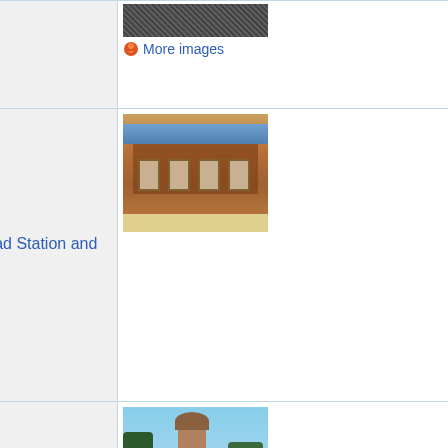| # | Name | Image |
| --- | --- | --- |
|  | School | More images |
| 7 | Cumberland Valley Railroad Station and Station Master's House |  |
| 8 | Cumberland Valley State Normal School Historic District | More images |
| 9 | Dykeman's Spring |  |